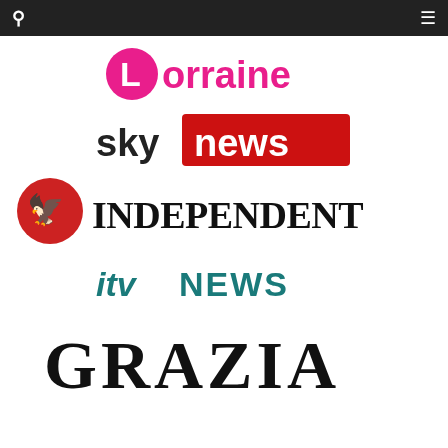Navigation bar with search and menu icons
[Figure (logo): Lorraine TV show logo - pink circle with white L and 'orraine' text in pink]
[Figure (logo): Sky News logo - 'sky' in dark text and 'news' in white on red rectangle background]
[Figure (logo): The Independent newspaper logo - red circle with white eagle bird and 'INDEPENDENT' in bold serif black text]
[Figure (logo): ITV News logo - 'itv' in teal italic and 'NEWS' in teal capitals]
[Figure (logo): Grazia magazine logo - 'GRAZIA' in large bold serif black display font]